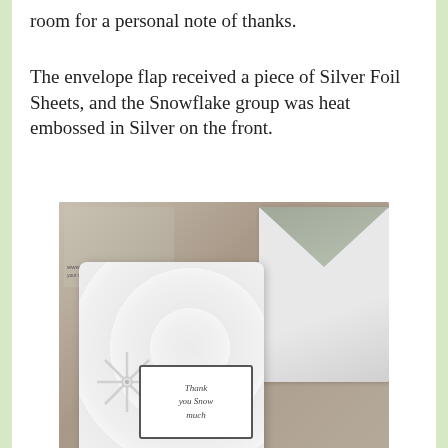room for a personal note of thanks.
The envelope flap received a piece of Silver Foil Sheets, and the Snowflake group was heat embossed in Silver on the front.
[Figure (photo): Photo of a handmade white card with snowflake embossing and a 'Thank you Snow much' sentiment label, alongside a silver foil envelope with embossed flap, on a brown kraft background. Watermark reads www.wildwagcreations.com]